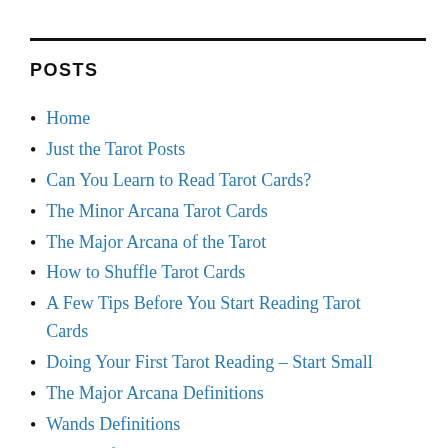POSTS
Home
Just the Tarot Posts
Can You Learn to Read Tarot Cards?
The Minor Arcana Tarot Cards
The Major Arcana of the Tarot
How to Shuffle Tarot Cards
A Few Tips Before You Start Reading Tarot Cards
Doing Your First Tarot Reading – Start Small
The Major Arcana Definitions
Wands Definitions
Cups Definitions